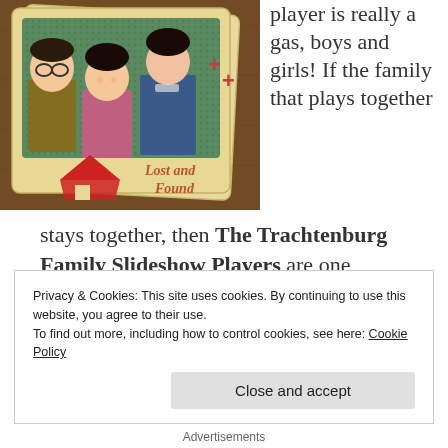[Figure (illustration): A card game card illustration showing three illustrated characters (a man with glasses, a girl, and another girl) on a beige card background with a red house/diamond symbol in the lower left and 'Lost and Found' text in red-orange in the lower right. Two plus signs visible. Card is set against a wooden table background.]
player is really a gas, boys and girls! If the family that plays together
stays together, then The Trachtenburg Family Slideshow Players are one fantabulous bundle of cosmic togetherness: these three way-out
Privacy & Cookies: This site uses cookies. By continuing to use this website, you agree to their use.
To find out more, including how to control cookies, see here: Cookie Policy
Close and accept
Advertisements